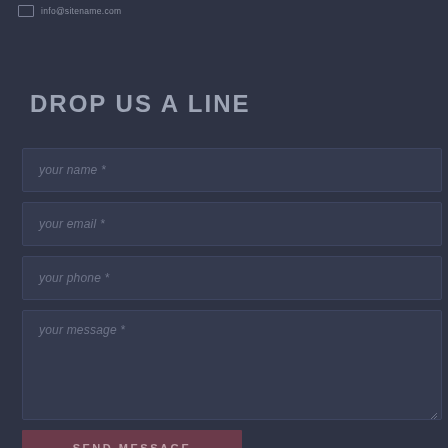info@sitename.com
DROP US A LINE
your name *
your email *
your phone *
your message *
SEND MESSAGE